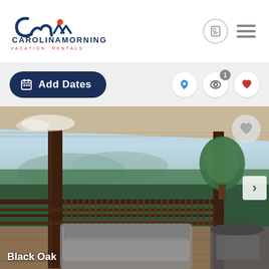[Figure (logo): Carolina Mornings Vacation Rentals logo with stylized 'cm' script and mountain motif in navy and orange]
Add Dates
[Figure (photo): Outdoor deck/porch of vacation rental 'Black Oak' with wicker furniture, mountain and forest views, covered porch with dark wood posts]
Black Oak